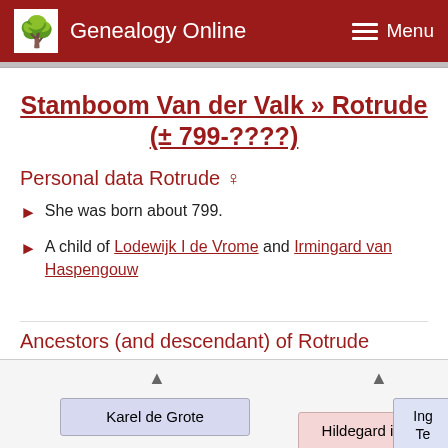Genealogy Online  Menu
Stamboom Van der Valk » Rotrude (± 799-????)
Personal data Rotrude ♀
She was born about 799.
A child of Lodewijk I de Vrome and Irmingard van Haspengouw
Ancestors (and descendant) of Rotrude
[Figure (organizational-chart): Partial ancestor chart showing nodes for Karel de Grote, Hildegard in de, and a partially visible third node (Ing... Te...) with upward triangle arrows above Karel de Grote and Hildegard in de nodes.]